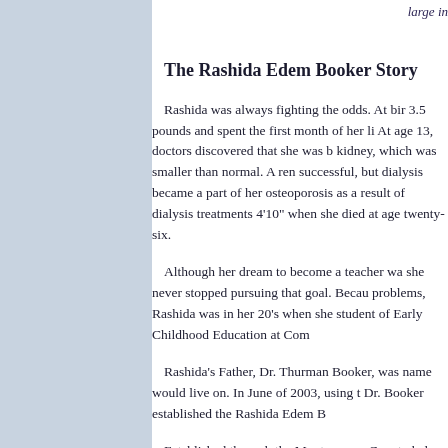large in
The Rashida Edem Booker Story
Rashida was always fighting the odds. At birth she weighed 3.5 pounds and spent the first month of her life in an incubator. At age 13, doctors discovered that she was born with only one kidney, which was smaller than normal. A renal transplant was successful, but dialysis became a part of her life. She developed osteoporosis as a result of dialysis treatments, and was only 4'10" when she died at age twenty-six.
Although her dream to become a teacher was cut short, she never stopped pursuing that goal. Because of her health problems, Rashida was in her 20's when she became a full-time student of Early Childhood Education at Com
Rashida's Father, Dr. Thurman Booker, was determined her name would live on. In June of 2003, using the family's resources, Dr. Booker established the Rashida Edem B
Established through the Montgomery County help sustain programs that provide early edu through a classroom setting or recreation pr